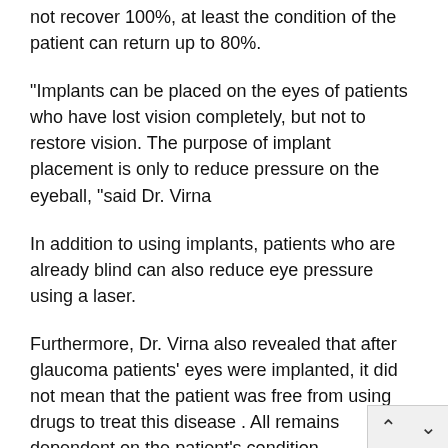not recover 100%, at least the condition of the patient can return up to 80%.
"Implants can be placed on the eyes of patients who have lost vision completely, but not to restore vision. The purpose of implant placement is only to reduce pressure on the eyeball, "said Dr. Virna
In addition to using implants, patients who are already blind can also reduce eye pressure using a laser.
Furthermore, Dr. Virna also revealed that after glaucoma patients' eyes were implanted, it did not mean that the patient was free from using drugs to treat this disease . All remains dependent on the patient's condition.
There are some cases that require additional treatment. However, if eye pressure has been resolved only with the us an implant, the patient does not need to take medication or